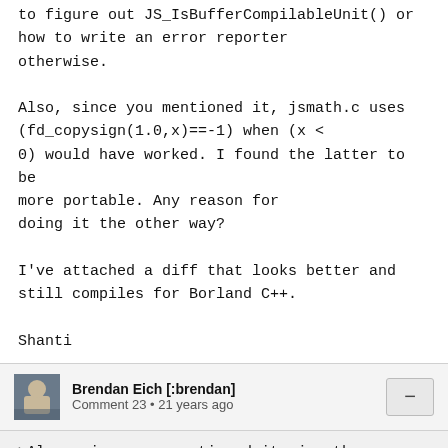to figure out JS_IsBufferCompilableUnit() or how to write an error reporter otherwise.

Also, since you mentioned it, jsmath.c uses (fd_copysign(1.0,x)==-1) when (x < 0) would have worked. I found the latter to be more portable. Any reason for doing it the other way?

I've attached a diff that looks better and still compiles for Borland C++.

Shanti
Brendan Eich [:brendan]
Comment 23 • 21 years ago
>Also, since you mentioned it, jsmath.c uses
(fd_copysign(1.0,x)==-1) when (x <